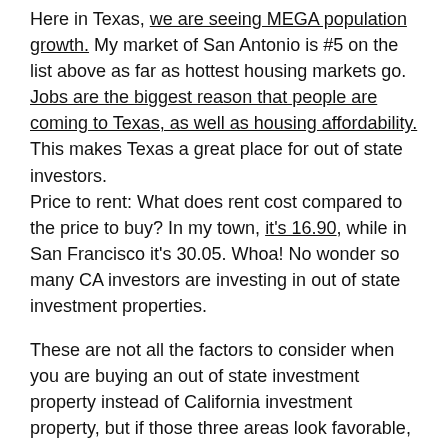Here in Texas, we are seeing MEGA population growth. My market of San Antonio is #5 on the list above as far as hottest housing markets go. Jobs are the biggest reason that people are coming to Texas, as well as housing affordability. This makes Texas a great place for out of state investors.
Price to rent: What does rent cost compared to the price to buy? In my town, it's 16.90, while in San Francisco it's 30.05. Whoa! No wonder so many CA investors are investing in out of state investment properties.
These are not all the factors to consider when you are buying an out of state investment property instead of California investment property, but if those three areas look favorable, you probably could do well in that market and financially retire early as I did, in one of the best cities to invest in real estate. San Antonio investment property is excellent for cash flow.